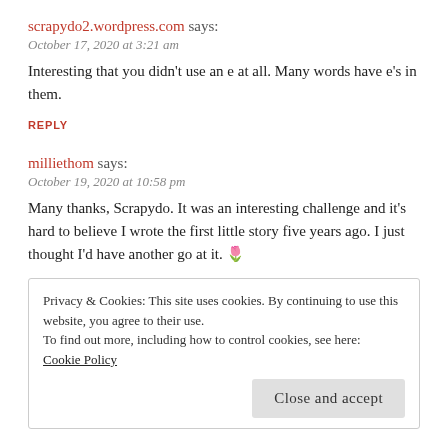scrapydo2.wordpress.com says:
October 17, 2020 at 3:21 am
Interesting that you didn't use an e at all. Many words have e's in them.
REPLY
milliethom says:
October 19, 2020 at 10:58 pm
Many thanks, Scrapydo. It was an interesting challenge and it's hard to believe I wrote the first little story five years ago. I just thought I'd have another go at it. 🌷
Privacy & Cookies: This site uses cookies. By continuing to use this website, you agree to their use.
To find out more, including how to control cookies, see here: Cookie Policy
Close and accept